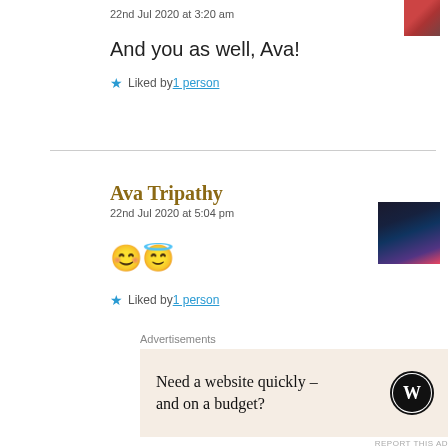22nd Jul 2020 at 3:20 am
And you as well, Ava!
★ Liked by 1 person
Ava Tripathy
22nd Jul 2020 at 5:04 pm
😊😇
★ Liked by 1 person
Advertisements
Need a website quickly – and on a budget?